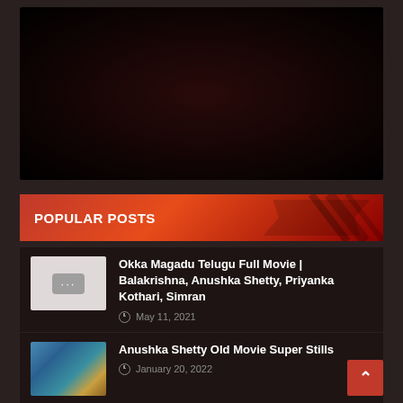[Figure (other): Dark video player area with near-black background, slight dark red radial gradient]
POPULAR POSTS
[Figure (photo): Thumbnail placeholder with grey background and three dots icon]
Okka Magadu Telugu Full Movie | Balakrishna, Anushka Shetty, Priyanka Kothari, Simran
May 11, 2021
[Figure (photo): Thumbnail of a person in colorful costume near water]
Anushka Shetty Old Movie Super Stills
January 20, 2022